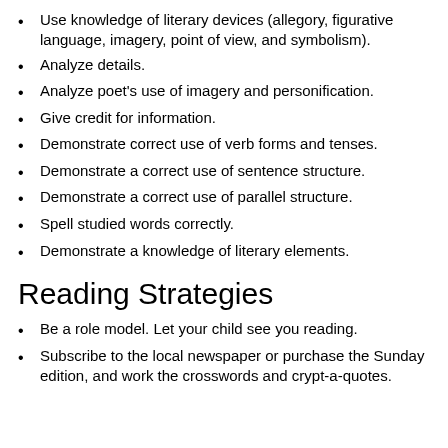Use knowledge of literary devices (allegory, figurative language, imagery, point of view, and symbolism).
Analyze details.
Analyze poet's use of imagery and personification.
Give credit for information.
Demonstrate correct use of verb forms and tenses.
Demonstrate a correct use of sentence structure.
Demonstrate a correct use of parallel structure.
Spell studied words correctly.
Demonstrate a knowledge of literary elements.
Reading Strategies
Be a role model. Let your child see you reading.
Subscribe to the local newspaper or purchase the Sunday edition, and work the crosswords and crypt-a-quotes.